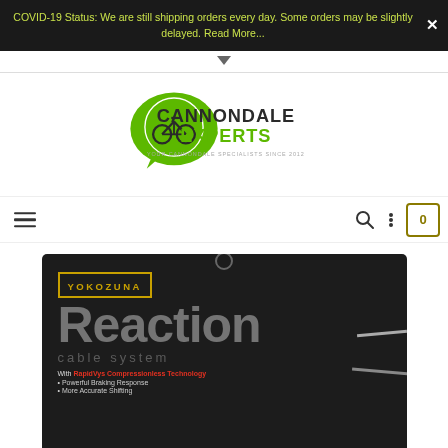COVID-19 Status: We are still shipping orders every day. Some orders may be slightly delayed. Read More...
[Figure (logo): Cannondale Experts logo — green speech-bubble with bicycle icon and text CANNONDALE EXPERTS]
[Figure (photo): Yokozuna Reaction Cable System product package — black packaging with brand name YOKOZUNA in gold bordered text, large grey text 'Reaction', smaller text 'cable system', red tagline 'With RapidVys Compressionless Technology', bullet points 'Powerful Braking Response' and 'More Accurate Shifting']